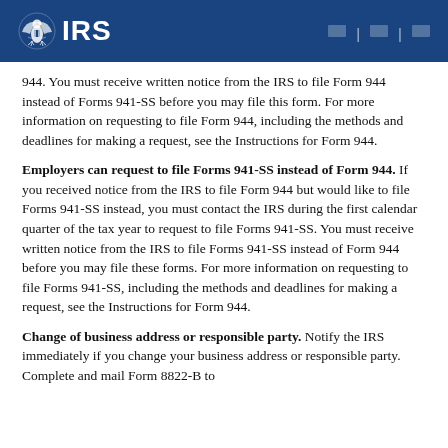IRS
944. You must receive written notice from the IRS to file Form 944 instead of Forms 941-SS before you may file this form. For more information on requesting to file Form 944, including the methods and deadlines for making a request, see the Instructions for Form 944.
Employers can request to file Forms 941-SS instead of Form 944. If you received notice from the IRS to file Form 944 but would like to file Forms 941-SS instead, you must contact the IRS during the first calendar quarter of the tax year to request to file Forms 941-SS. You must receive written notice from the IRS to file Forms 941-SS instead of Form 944 before you may file these forms. For more information on requesting to file Forms 941-SS, including the methods and deadlines for making a request, see the Instructions for Form 944.
Change of business address or responsible party. Notify the IRS immediately if you change your business address or responsible party. Complete and mail Form 8822-B to